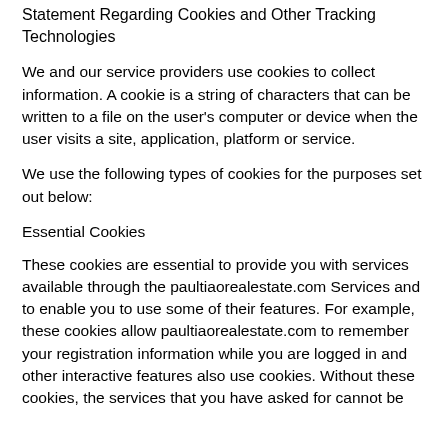Statement Regarding Cookies and Other Tracking Technologies
We and our service providers use cookies to collect information. A cookie is a string of characters that can be written to a file on the user's computer or device when the user visits a site, application, platform or service.
We use the following types of cookies for the purposes set out below:
Essential Cookies
These cookies are essential to provide you with services available through the paultiaorealestate.com Services and to enable you to use some of their features. For example, these cookies allow paultiaorealestate.com to remember your registration information while you are logged in and other interactive features also use cookies. Without these cookies, the services that you have asked for cannot be provided, and we only use these cookies to provide you with those services.